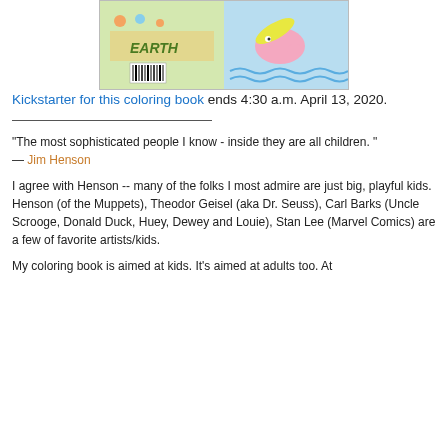[Figure (illustration): Cover images of a coloring book showing cartoon characters on earth/beach scenes with a barcode visible on the back cover]
Kickstarter for this coloring book ends 4:30 a.m. April 13, 2020.
“The most sophisticated people I know - inside they are all children. ”
— Jim Henson
I agree with Henson -- many of the folks I most admire are just big, playful kids. Henson (of the Muppets), Theodor Geisel (aka Dr. Seuss), Carl Barks (Uncle Scrooge, Donald Duck, Huey, Dewey and Louie), Stan Lee (Marvel Comics) are a few of favorite artists/kids.
My coloring book is aimed at kids. It’s aimed at adults too. At